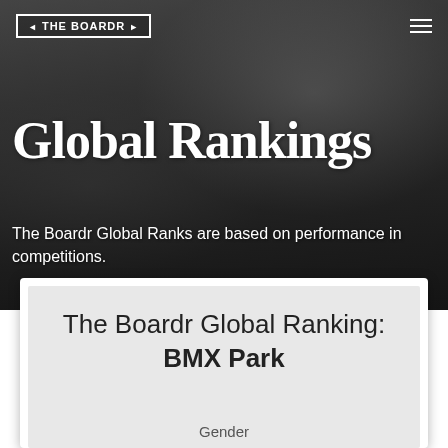[Figure (photo): Hero background showing a crowd watching a skate/BMX competition in an urban setting, with a dark overlay]
THE BOARDR
Global Rankings
The Boardr Global Ranks are based on performance in competitions.
The Boardr Global Ranking: BMX Park
Gender